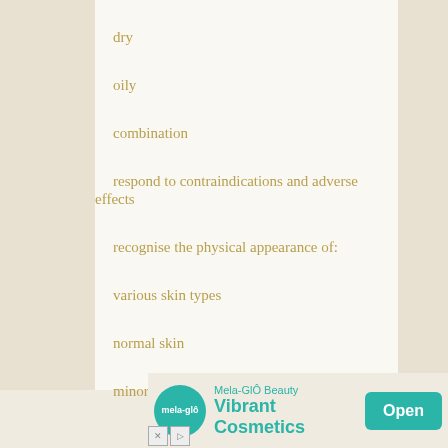dry
oily
combination
respond to contraindications and adverse effects
recognise the physical appearance of:
various skin types
normal skin
minor skin blemishes
[Figure (other): Advertisement banner for Mela-GlÔ Beauty: Vibrant Cosmetics with Open button]